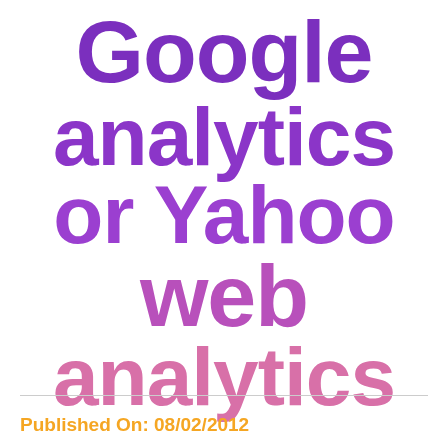Google analytics or Yahoo web analytics
Published On: 08/02/2012